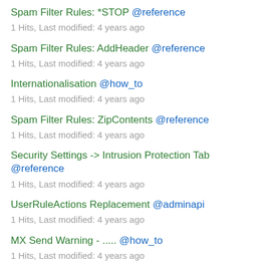Spam Filter Rules: *STOP @reference
1 Hits, Last modified: 4 years ago
Spam Filter Rules: AddHeader @reference
1 Hits, Last modified: 4 years ago
Internationalisation @how_to
1 Hits, Last modified: 4 years ago
Spam Filter Rules: ZipContents @reference
1 Hits, Last modified: 4 years ago
Security Settings -> Intrusion Protection Tab @reference
1 Hits, Last modified: 4 years ago
UserRuleActions Replacement @adminapi
1 Hits, Last modified: 4 years ago
MX Send Warning - ..... @how_to
1 Hits, Last modified: 4 years ago